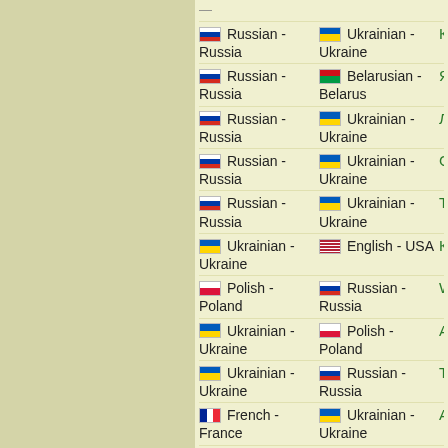Russian - Russia | Ukrainian - Ukraine | Когда
Russian - Russia | Belarusian - Belarus | Ясно
Russian - Russia | Ukrainian - Ukraine | Лист
Russian - Russia | Ukrainian - Ukraine | Следовательно
Russian - Russia | Ukrainian - Ukraine | Ткачество
Ukrainian - Ukraine | English - USA | Кит
Polish - Poland | Russian - Russia | Wykładnik
Ukrainian - Ukraine | Polish - Poland | Аеропорт
Ukrainian - Ukraine | Russian - Russia | Тіло
French - France | Ukrainian - Ukraine | Année
Russian - Russia | Polish - Poland | 8 бит
Ukrainian - Ukraine | English - USA | Цікавити